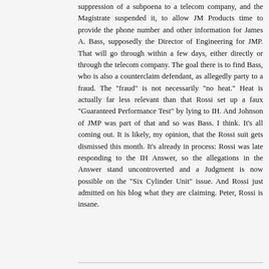suppression of a subpoena to a telecom company, and the Magistrate suspended it, to allow JM Products time to provide the phone number and other information for James A. Bass, supposedly the Director of Engineering for JMP. That will go through within a few days, either directly or through the telecom company. The goal there is to find Bass, who is also a counterclaim defendant, as allegedly party to a fraud. The "fraud" is not necessarily "no heat." Heat is actually far less relevant than that Rossi set up a faux "Guaranteed Performance Test" by lying to IH. And Johnson of JMP was part of that and so was Bass. I think. It's all coming out. It is likely, my opinion, that the Rossi suit gets dismissed this month. It's already in process: Rossi was late responding to the IH Answer, so the allegations in the Answer stand uncontroverted and a Judgment is now possible on the "Six Cylinder Unit" issue. And Rossi just admitted on his blog what they are claiming. Peter, Rossi is insane.